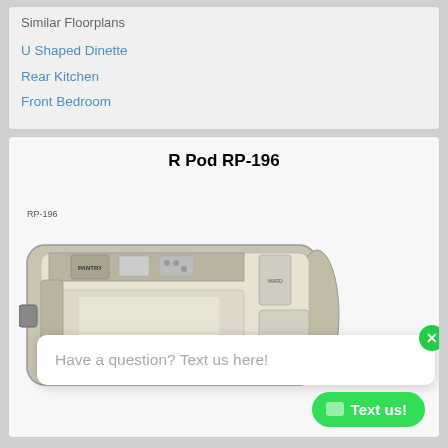Similar Floorplans
U Shaped Dinette
Rear Kitchen
Front Bedroom
R Pod RP-196
[Figure (illustration): Floorplan diagram of the R Pod RP-196 RV trailer showing interior layout with PANTRY label and bed areas labeled, viewed from above. Label RP-196 in upper left.]
Have a question? Text us here!
Text us!